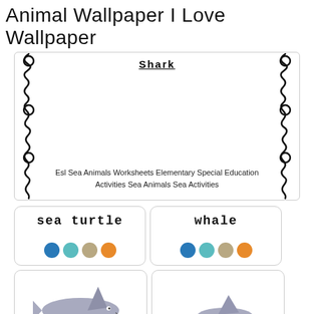Animal Wallpaper I Love Wallpaper
[Figure (illustration): A decorative worksheet border with curly/looping vine-like black lines and circular rings on left and right sides, with bold text 'Shark' at the top center]
Esl Sea Animals Worksheets Elementary Special Education Activities Sea Animals Sea Activities
[Figure (illustration): Word card showing 'sea turtle' with four colored dots below: blue, teal, tan, orange]
[Figure (illustration): Word card showing 'whale' with four colored dots below: blue, teal, tan, orange]
[Figure (illustration): Animal card showing a gray shark illustration]
[Figure (illustration): Animal card showing a partial gray animal illustration (partially visible)]